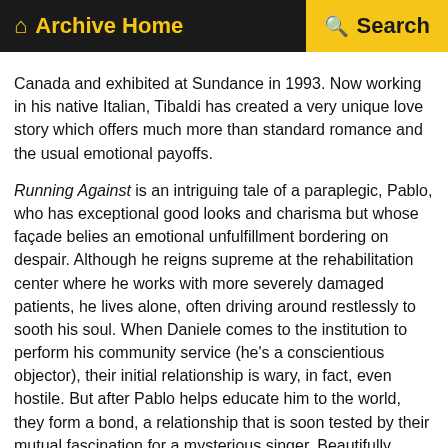Archive Home   Search
Canada and exhibited at Sundance in 1993. Now working in his native Italian, Tibaldi has created a very unique love story which offers much more than standard romance and the usual emotional payoffs.
Running Against is an intriguing tale of a paraplegic, Pablo, who has exceptional good looks and charisma but whose façade belies an emotional unfulfillment bordering on despair. Although he reigns supreme at the rehabilitation center where he works with more severely damaged patients, he lives alone, often driving around restlessly to sooth his soul. When Daniele comes to the institution to perform his community service (he's a conscientious objector), their initial relationship is wary, in fact, even hostile. But after Pablo helps educate him to the world, they form a bond, a relationship that is soon tested by their mutual fascination for a mysterious singer. Beautifully resonant and artfully crafted, Tibaldi's filmmaking utilizes detail, nuance, and realism to tell stories that emanate truth and wisdom. Running Against is